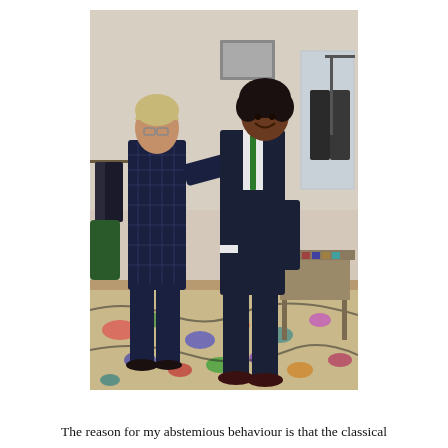[Figure (photo): Two men in a tailoring shop. On the left, an older man with grey-blond hair wearing a navy blue windowpane check suit is adjusting or fitting the jacket of a younger man on the right, who is wearing a dark navy suit with a white shirt and green tie. In the background are clothes racks with hanging suits, a mirror, and a table with fabric swatches. The floor has a colorful patterned carpet.]
The reason for my abstemious behaviour is that the classical